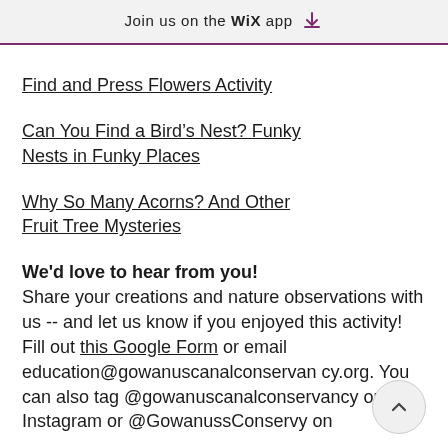Join us on the WIX app ⤓
Find and Press Flowers Activity
Can You Find a Bird’s Nest? Funky Nests in Funky Places
Why So Many Acorns? And Other Fruit Tree Mysteries
We’d love to hear from you! Share your creations and nature observations with us -- and let us know if you enjoyed this activity! Fill out this Google Form or email education@gowanuscanalconservancy.org. You can also tag @gowanuscanalconservancy on Instagram or @GowanuscConsery on...